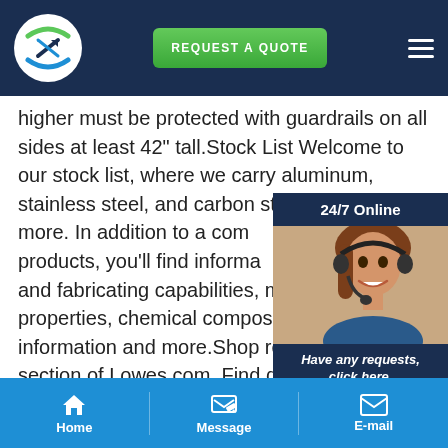REQUEST A QUOTE
higher must be protected with guardrails on all sides at least 42" tall.Stock List Welcome to our stock list, where we carry aluminum, stainless steel, and carbon stock and much more. In addition to a complete listing of our products, you'll find information on processing and fabricating capabilities, mechanical properties, chemical composition, tolerances, information and more.Shop rebar in the rebar section of Lowes.com. Find quality rebar at our store.With access to over 350,000 in-stock safety and fastener products, Acklands-Grainger Canada's largest distributor of maintenance
[Figure (photo): Customer service representative woman wearing headset, with 24/7 Online label and Have any requests, click here. Quotation button]
Home  Message  E-mail